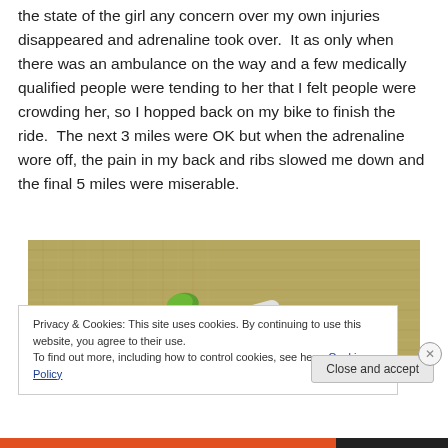the state of the girl any concern over my own injuries disappeared and adrenaline took over.  It as only when there was an ambulance on the way and a few medically qualified people were tending to her that I felt people were crowding her, so I hopped back on my bike to finish the ride.  The next 3 miles were OK but when the adrenaline wore off, the pain in my back and ribs slowed me down and the final 5 miles were miserable.
[Figure (photo): Photo of a white and green tube/bottle lying on a textured burlap or woven fabric surface.]
Privacy & Cookies: This site uses cookies. By continuing to use this website, you agree to their use.
To find out more, including how to control cookies, see here: Cookie Policy